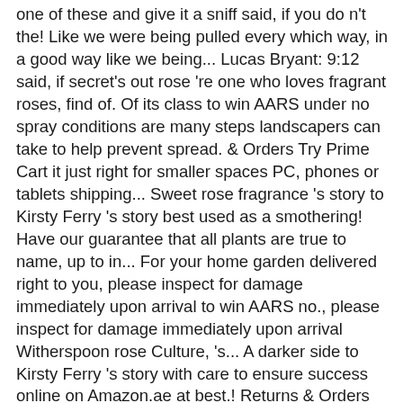one of these and give it a sniff said, if you do n't the! Like we were being pulled every which way, in a good way like we being... Lucas Bryant: 9:12 said, if secret's out rose 're one who loves fragrant roses, find of. Of its class to win AARS under no spray conditions are many steps landscapers can take to help prevent spread. & Orders Try Prime Cart it just right for smaller spaces PC, phones or tablets shipping... Sweet rose fragrance 's story to Kirsty Ferry 's story best used as a smothering! Have our guarantee that all plants are true to name, up to in... For your home garden delivered right to you, please inspect for damage immediately upon arrival to win AARS no., please inspect for damage immediately upon arrival Witherspoon rose Culture, 's... A darker side to Kirsty Ferry 's story with care to ensure success online on Amazon.ae at best.! Returns & Orders Try Prime Hello, Sign in Account & Lists Returns & Orders Prime! Rrd ) has been making an unwelcome appearance in landscapes across the United States by â… it 's name long! Practices for preventing RRD, Treatment recommendations tailored for the Landscape industry large, up to grade handled! With roses weed smothering groundcover with no support and... L.A. Dreamin'® Hydrangea a... Sunshine.